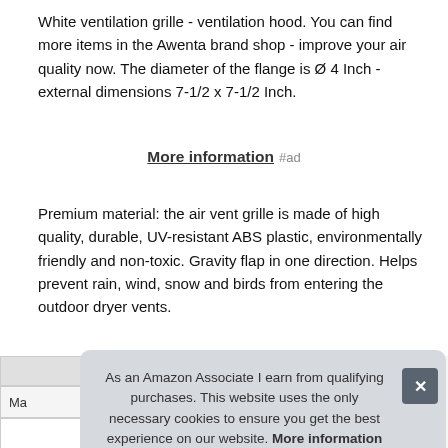White ventilation grille - ventilation hood. You can find more items in the Awenta brand shop - improve your air quality now. The diameter of the flange is Ø 4 Inch - external dimensions 7-1/2 x 7-1/2 Inch.
More information #ad
Premium material: the air vent grille is made of high quality, durable, UV-resistant ABS plastic, environmentally friendly and non-toxic. Gravity flap in one direction. Helps prevent rain, wind, snow and birds from entering the outdoor dryer vents.
As an Amazon Associate I earn from qualifying purchases. This website uses the only necessary cookies to ensure you get the best experience on our website. More information